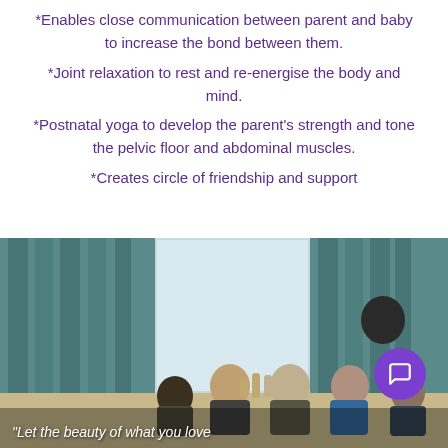*Enables close communication between parent and baby to increase the bond between them.
*Joint relaxation to rest and re-energise the body and mind.
*Postnatal yoga to develop the parent's strength and tone the pelvic floor and abdominal muscles.
*Creates circle of friendship and support
[Figure (photo): Group of women sitting in a circle in a hall, holding hands or clapping, with teal curtains and windows in background. Overlay text reads: "Let the beauty of what you love"]